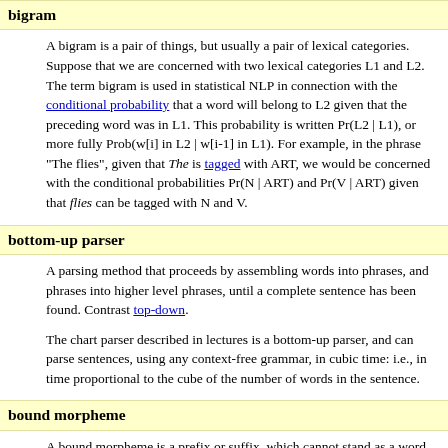bigram
A bigram is a pair of things, but usually a pair of lexical categories. Suppose that we are concerned with two lexical categories L1 and L2. The term bigram is used in statistical NLP in connection with the conditional probability that a word will belong to L2 given that the preceding word was in L1. This probability is written Pr(L2 | L1), or more fully Prob(w[i] in L2 | w[i-1] in L1). For example, in the phrase "The flies", given that The is tagged with ART, we would be concerned with the conditional probabilities Pr(N | ART) and Pr(V | ART) given that flies can be tagged with N and V.
bottom-up parser
A parsing method that proceeds by assembling words into phrases, and phrases into higher level phrases, until a complete sentence has been found. Contrast top-down.
The chart parser described in lectures is a bottom-up parser, and can parse sentences, using any context-free grammar, in cubic time: i.e., in time proportional to the cube of the number of words in the sentence.
bound morpheme
A bound morpheme is a prefix or suffix, which cannot stand as a word in its own right, but which, can be attached to a free morpheme and modify the meaning of the free